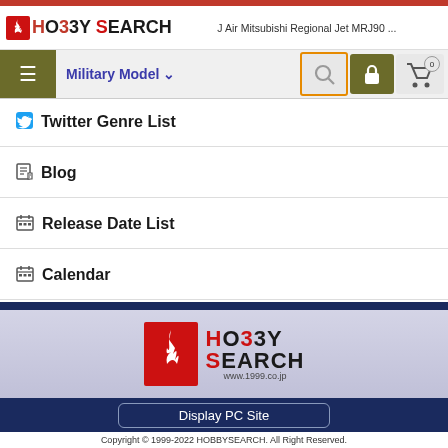HOBBY SEARCH — J Air Mitsubishi Regional Jet MRJ90 ...
[Figure (screenshot): Navigation bar with hamburger menu, Military Model dropdown, search icon (highlighted with orange border), lock icon, and cart icon with 0 badge]
Twitter Genre List
Blog
Release Date List
Calendar
[Figure (logo): Hobby Search logo with flame icon and www.1999.co.jp URL on gradient background]
Display PC Site
Copyright © 1999-2022 HOBBYSEARCH. All Right Reserved.